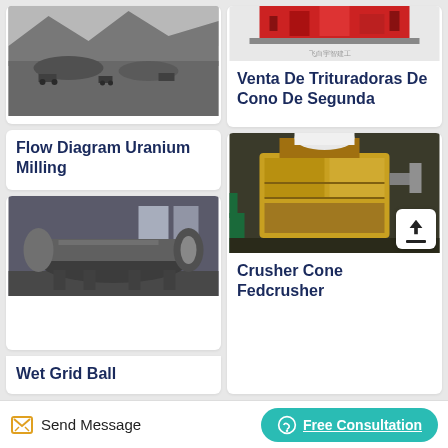[Figure (photo): Black and white aerial photo of open pit uranium mining site with heavy machinery]
Flow Diagram Uranium Milling
[Figure (photo): Industrial ball mill machine inside a factory hall]
Wet Grid Ball
[Figure (photo): Partial top image of red industrial crusher machine with Chinese text watermark]
Venta De Trituradoras De Cono De Segunda
[Figure (photo): Yellow cone crusher machine (Fedcrusher) in industrial facility]
Crusher Cone Fedcrusher
Send Message   Free Consultation